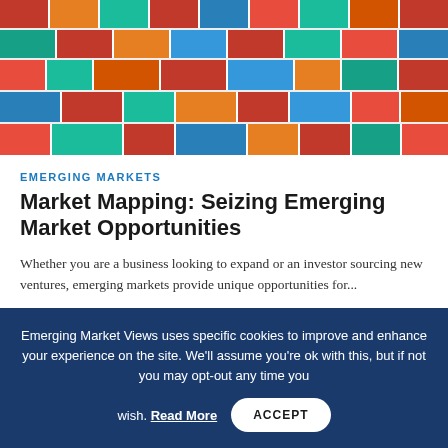[Figure (photo): Aerial view of stacked colorful shipping containers — red, orange, teal, blue — in a port or cargo yard]
EMERGING MARKETS
Market Mapping: Seizing Emerging Market Opportunities
Whether you are a business looking to expand or an investor sourcing new ventures, emerging markets provide unique opportunities for...
07.23.2021  |  NATHAN REED
Emerging Market Views uses specific cookies to improve and enhance your experience on the site. We'll assume you're ok with this, but if not you may opt-out any time you wish. Read More
ACCEPT